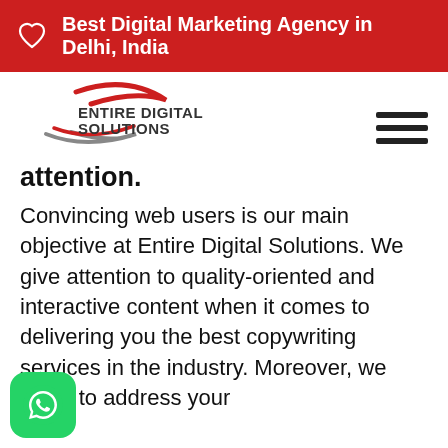Best Digital Marketing Agency in Delhi, India
[Figure (logo): Entire Digital Solutions logo with red and grey swoosh graphic and bold text]
attention.
Convincing web users is our main objective at Entire Digital Solutions. We give attention to quality-oriented and interactive content when it comes to delivering you the best copywriting services in the industry. Moreover, we strive to address your